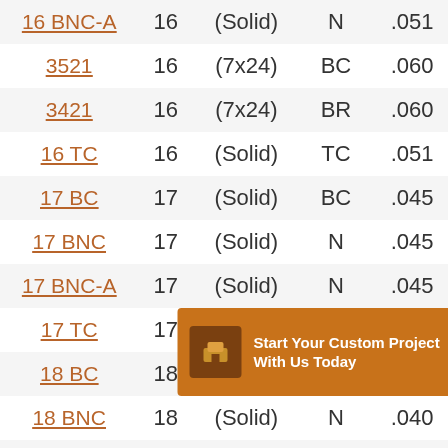| Model | AWG | Stranding | Material | Diameter |
| --- | --- | --- | --- | --- |
| 16 BNC-A | 16 | (Solid) | N | .051 |
| 3521 | 16 | (7x24) | BC | .060 |
| 3421 | 16 | (7x24) | BR | .060 |
| 16 TC | 16 | (Solid) | TC | .051 |
| 17 BC | 17 | (Solid) | BC | .045 |
| 17 BNC | 17 | (Solid) | N | .045 |
| 17 BNC-A | 17 | (Solid) | N | .045 |
| 17 TC | 17 | (Solid) | TC | .045 |
| 18 BC | 18 | (Solid) | BC | .040 |
| 18 BNC | 18 | (Solid) | N | .040 |
| 18 BNC-A | 18 | (Solid) | N | .040 |